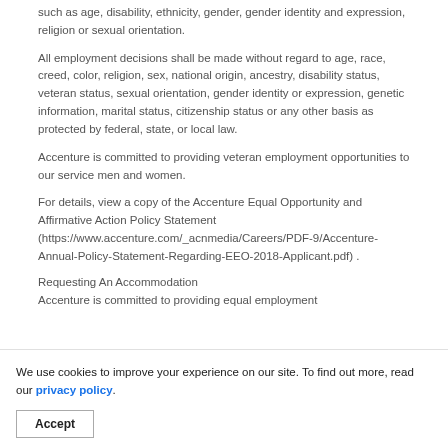such as age, disability, ethnicity, gender, gender identity and expression, religion or sexual orientation.
All employment decisions shall be made without regard to age, race, creed, color, religion, sex, national origin, ancestry, disability status, veteran status, sexual orientation, gender identity or expression, genetic information, marital status, citizenship status or any other basis as protected by federal, state, or local law.
Accenture is committed to providing veteran employment opportunities to our service men and women.
For details, view a copy of the Accenture Equal Opportunity and Affirmative Action Policy Statement (https://www.accenture.com/_acnmedia/Careers/PDF-9/Accenture-Annual-Policy-Statement-Regarding-EEO-2018-Applicant.pdf) .
Requesting An Accommodation
Accenture is committed to providing equal employment opportunities for persons with disabilities or religious observances, including reasonable accommodation when needed.
We use cookies to improve your experience on our site. To find out more, read our privacy policy.
Accept